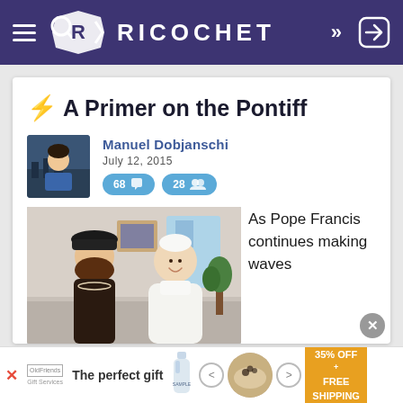RICOCHET
⚡ A Primer on the Pontiff
Manuel Dobjanschi
July 12, 2015
68 💬  28 👥
[Figure (photo): Photo of a woman in a black hat meeting Pope Francis in white robes]
As Pope Francis continues making waves
[Figure (advertisement): Ad banner: The perfect gift, 35% OFF + FREE SHIPPING]